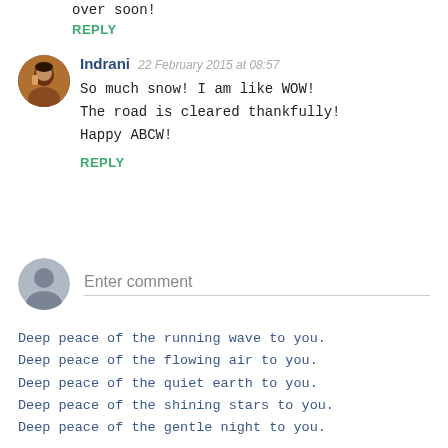over soon!
REPLY
Indrani  22 February 2015 at 08:57
So much snow! I am like WOW!
The road is cleared thankfully!
Happy ABCW!
REPLY
Enter comment
Deep peace of the running wave to you.
Deep peace of the flowing air to you.
Deep peace of the quiet earth to you.
Deep peace of the shining stars to you.
Deep peace of the gentle night to you.